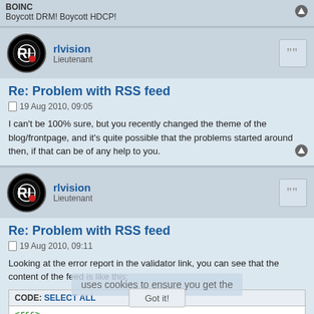BOINC
Boycott DRM! Boycott HDCP!
rlvision
Lieutenant
Re: Problem with RSS feed
19 Aug 2010, 09:05
I can't be 100% sure, but you recently changed the theme of the blog/frontpage, and it's quite possible that the problems started around then, if that can be of any help to you.
rlvision
Lieutenant
Re: Problem with RSS feed
19 Aug 2010, 09:11
Looking at the error report in the validator link, you can see that the content of the feed is like this:
| CODE: | SELECT ALL |
| --- | --- |
| <rss> |
| </rss> |
| <!DOCTYPE> |